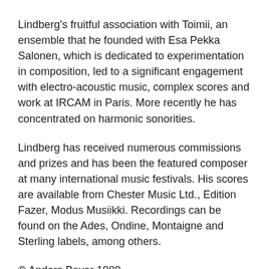Lindberg's fruitful association with Toimii, an ensemble that he founded with Esa Pekka Salonen, which is dedicated to experimentation in composition, led to a significant engagement with electro-acoustic music, complex scores and work at IRCAM in Paris. More recently he has concentrated on harmonic sonorities.
Lindberg has received numerous commissions and prizes and has been the featured composer at many international music festivals. His scores are available from Chester Music Ltd., Edition Fazer, Modus Musiikki. Recordings can be found on the Ades, Ondine, Montaigne and Sterling labels, among others.
© Anders Beyer 1989.
The interview was published in Danish: ‘En ny verden